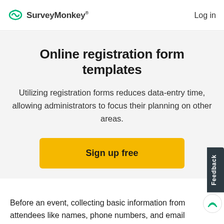SurveyMonkey  Log in
Online registration form templates
Utilizing registration forms reduces data-entry time, allowing administrators to focus their planning on other areas.
Sign up free
Feedback
Before an event, collecting basic information from attendees like names, phone numbers, and email addresses can help keep your event organized and efficient.